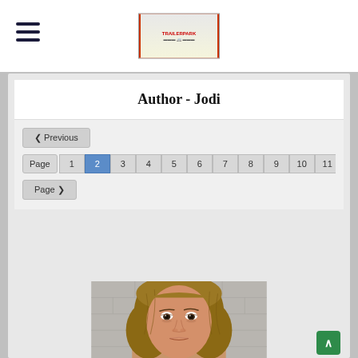Trailer Park - navigation header with hamburger menu and logo
Author - Jodi
< Previous
Page 1 2 3 4 5 6 7 8 9 10 11 12 13...
Page >
[Figure (photo): Mugshot of a woman with medium-length blonde/brunette hair, looking forward against a grey concrete block wall background]